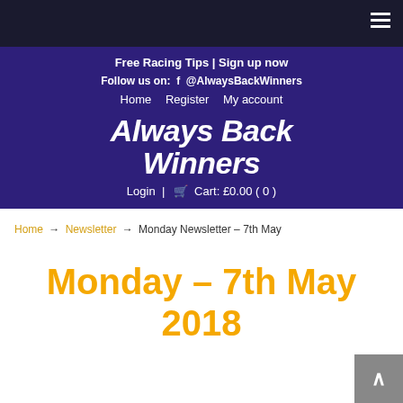Free Racing Tips | Sign up now
Follow us on: f @AlwaysBackWinners
Home  Register  My account
Always Back Winners
Login | Cart: £0.00 ( 0 )
Home → Newsletter → Monday Newsletter – 7th May
Monday – 7th May 2018